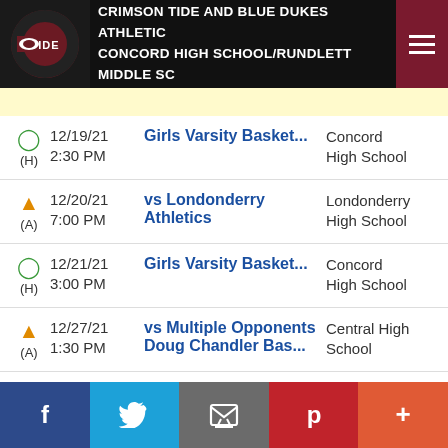CRIMSON TIDE AND BLUE DUKES ATHLETICS CONCORD HIGH SCHOOL/RUNDLETT MIDDLE SC...
12/19/21 2:30 PM (H) Girls Varsity Basket... Concord High School
12/20/21 7:00 PM (A) vs Londonderry Athletics Londonderry High School
12/21/21 3:00 PM (H) Girls Varsity Basket... Concord High School
12/27/21 1:30 PM (A) vs Multiple Opponents Doug Chandler Bas... Central High School
12/28/21 TBA (A) vs Multiple Opponents Doug Chandler Bas... Central High School